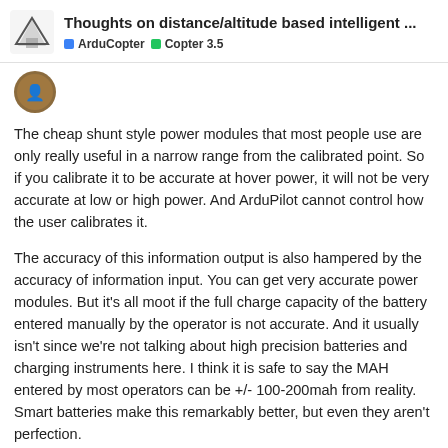Thoughts on distance/altitude based intelligent ... | ArduCopter | Copter 3.5
[Figure (illustration): Forum avatar/profile picture thumbnail]
The cheap shunt style power modules that most people use are only really useful in a narrow range from the calibrated point. So if you calibrate it to be accurate at hover power, it will not be very accurate at low or high power. And ArduPilot cannot control how the user calibrates it.
The accuracy of this information output is also hampered by the accuracy of information input. You can get very accurate power modules. But it's all moot if the full charge capacity of the battery entered manually by the operator is not accurate. And it usually isn't since we're not talking about high precision batteries and charging instruments here. I think it is safe to say the MAH entered by most operators can be +/- 100-200mah from reality. Smart batteries make this remarkably better, but even they aren't perfection.
So given all this, I think we have to work w management on a typical ArduPilot equipp